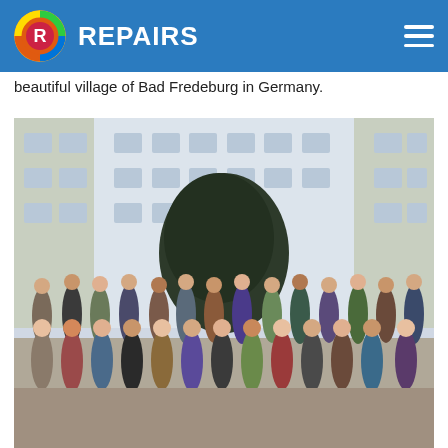REPAIRS
beautiful village of Bad Fredeburg in Germany.
[Figure (photo): Group photo of approximately 30 people standing in front of a large white multi-story building with a dark tree in the background. The group is arranged in three rows on what appears to be a courtyard or plaza.]